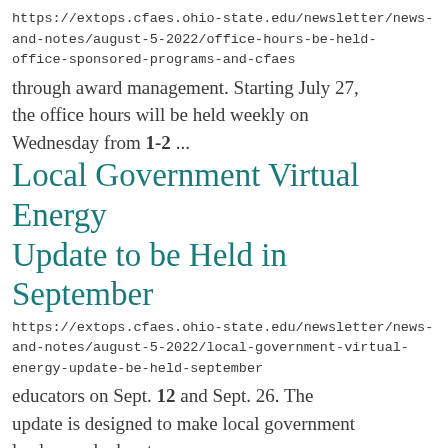https://extops.cfaes.ohio-state.edu/newsletter/news-and-notes/august-5-2022/office-hours-be-held-office-sponsored-programs-and-cfaes
through award management. Starting July 27, the office hours will be held weekly on Wednesday from 1-2 ...
Local Government Virtual Energy Update to be Held in September
https://extops.cfaes.ohio-state.edu/newsletter/news-and-notes/august-5-2022/local-government-virtual-energy-update-be-held-september
educators on Sept. 12 and Sept. 26. The update is designed to make local government leaders and educators ...